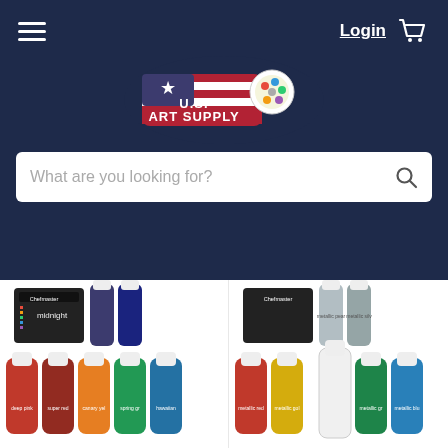U.S. Art Supply — Login, Cart, Search bar
[Figure (logo): U.S. Art Supply logo with American flag and paint palette on dark navy background]
What are you looking for?
[Figure (photo): Chefmaster Liqua-Gel Cake Color Set - 8 product photo showing colorful bottles]
Chefmaster
Item#: CHF 3088
Chefmaster Liqua-Gel Cake Color Set - 8
[Figure (photo): Chefmaster Liqua-Gel Cake Color Set - 6 product photo showing metallic color bottles]
Chefmaster
Item#: CHF 3094
Chefmaster Liqua-Gel Cake Color Set - 6